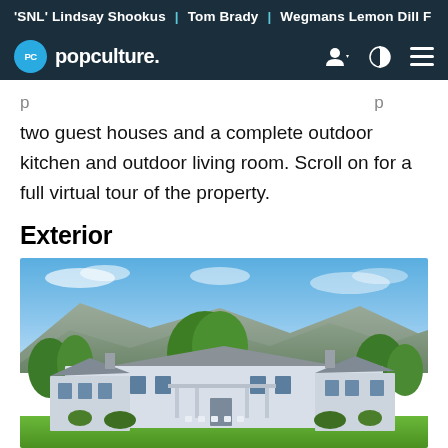'SNL' Lindsay Shookus | Tom Brady | Wegmans Lemon Dill F...
popculture.
two guest houses and a complete outdoor kitchen and outdoor living room. Scroll on for a full virtual tour of the property.
Exterior
[Figure (photo): Exterior photo of a large white estate house with multiple wings, surrounded by green trees and manicured lawn, with mountain range visible in the background under a blue sky with light clouds.]